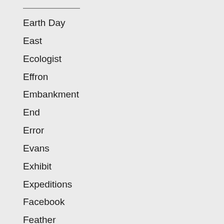Earth Day
East
Ecologist
Effron
Embankment
End
Error
Evans
Exhibit
Expeditions
Facebook
Feather
Fern
Finish
Fire
Flag
Flintlock
Flood
Francis